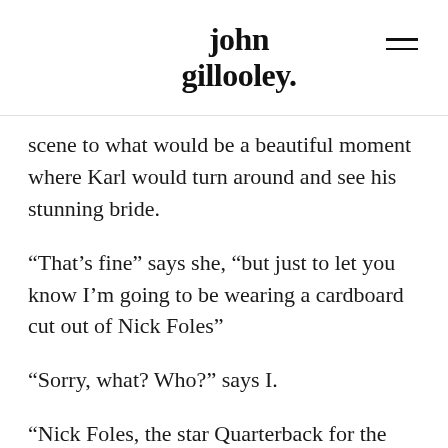john gillooley.
scene to what would be a beautiful moment where Karl would turn around and see his stunning bride.
“That’s fine” says she, “but just to let you know I’m going to be wearing a cardboard cut out of Nick Foles”
“Sorry, what? Who?” says I.
“Nick Foles, the star Quarterback for the Philadelphia Eagles” says she.